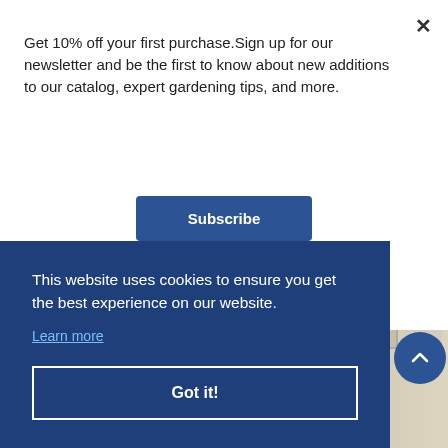[Figure (photo): Background photo of a gallery wall with framed paintings including a colorful garden/bird painting with sunflowers, displayed in a room with pale walls]
Get 10% off your first purchase.Sign up for our newsletter and be the first to know about new additions to our catalog, expert gardening tips, and more.
Subscribe
This website uses cookies to ensure you get the best experience on our website.
Learn more
Got it!